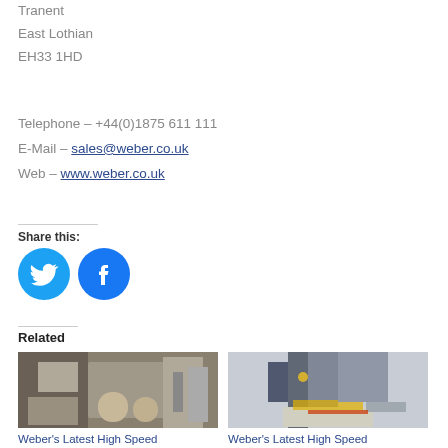Tranent
East Lothian
EH33 1HD
Telephone – +44(0)1875 611 111
E-Mail – sales@weber.co.uk
Web – www.weber.co.uk
Share this:
[Figure (other): Twitter and Facebook social media icon buttons (blue circles)]
Related
[Figure (photo): Industrial labeling machine in warehouse setting with cardboard boxes]
Weber's Latest High Speed
[Figure (photo): Close-up of high speed labeling/printing machine head]
Weber's Latest High Speed